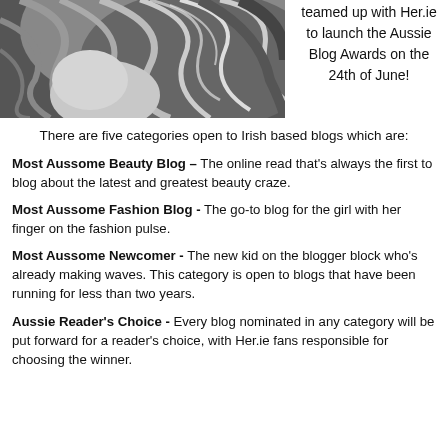[Figure (photo): Black and white close-up photo of a woman with flowing wavy hair]
Aussie has teamed up with Her.ie to launch the Aussie Blog Awards on the 24th of June!
There are five categories open to Irish based blogs which are:
Most Aussome Beauty Blog – The online read that's always the first to blog about the latest and greatest beauty craze.
Most Aussome Fashion Blog - The go-to blog for the girl with her finger on the fashion pulse.
Most Aussome Newcomer - The new kid on the blogger block who's already making waves. This category is open to blogs that have been running for less than two years.
Aussie Reader's Choice - Every blog nominated in any category will be put forward for a reader's choice, with Her.ie fans responsible for choosing the winner.